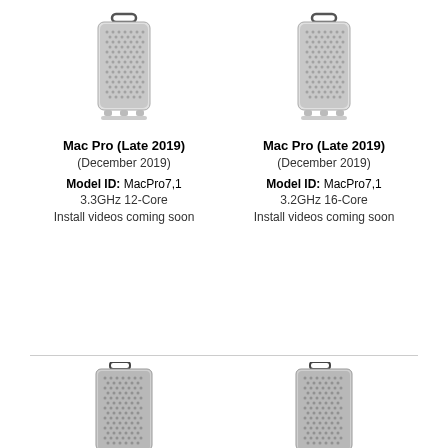[Figure (illustration): Mac Pro (Late 2019) tower computer illustration, left unit]
Mac Pro (Late 2019)
(December 2019)
Model ID: MacPro7,1
3.3GHz 12-Core
Install videos coming soon
[Figure (illustration): Mac Pro (Late 2019) tower computer illustration, right unit]
Mac Pro (Late 2019)
(December 2019)
Model ID: MacPro7,1
3.2GHz 16-Core
Install videos coming soon
[Figure (illustration): Mac Pro tower computer illustration, bottom-left, partially visible]
[Figure (illustration): Mac Pro tower computer illustration, bottom-right, partially visible]